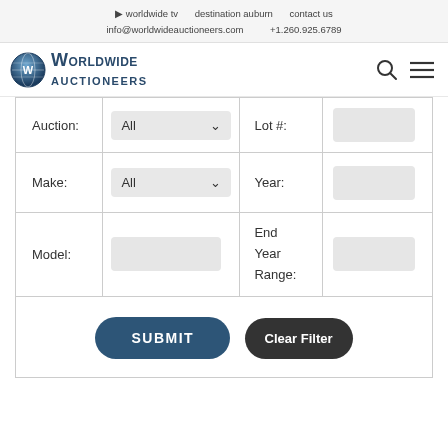worldwide tv   destination auburn   contact us
info@worldwideauctioneers.com   +1.260.925.6789
[Figure (logo): Worldwide Auctioneers logo with globe icon and text]
| Auction: | All ▾ | Lot #: |  |
| Make: | All ▾ | Year: |  |
| Model: |  | End Year Range: |  |
SUBMIT   Clear Filter